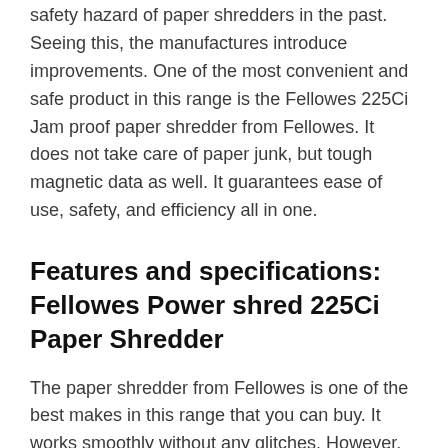safety hazard of paper shredders in the past. Seeing this, the manufactures introduce improvements. One of the most convenient and safe product in this range is the Fellowes 225Ci Jam proof paper shredder from Fellowes. It does not take care of paper junk, but tough magnetic data as well. It guarantees ease of use, safety, and efficiency all in one.
Features and specifications: Fellowes Power shred 225Ci Paper Shredder
The paper shredder from Fellowes is one of the best makes in this range that you can buy. It works smoothly without any glitches. However, before